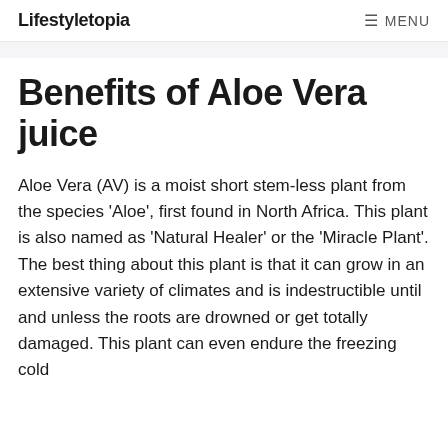Lifestyletopia  ☰ MENU
Benefits of Aloe Vera juice
Aloe Vera (AV) is a moist short stem-less plant from the species 'Aloe', first found in North Africa. This plant is also named as 'Natural Healer' or the 'Miracle Plant'. The best thing about this plant is that it can grow in an extensive variety of climates and is indestructible until and unless the roots are drowned or get totally damaged. This plant can even endure the freezing cold